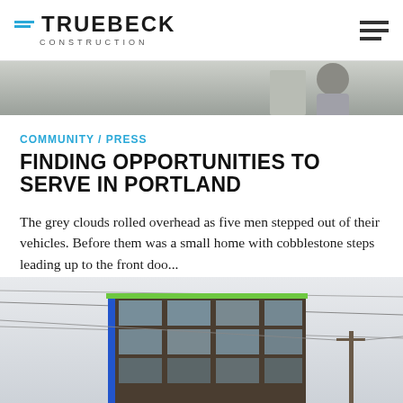TRUEBECK CONSTRUCTION
[Figure (photo): Partial photo of a person in a grey shirt, cropped, serving as hero image strip]
COMMUNITY / PRESS
FINDING OPPORTUNITIES TO SERVE IN PORTLAND
The grey clouds rolled overhead as five men stepped out of their vehicles. Before them was a small home with cobblestone steps leading up to the front doo...
[Figure (photo): Exterior photo of a multi-story building under construction with blue and green accent colors, with utility wires in the foreground]